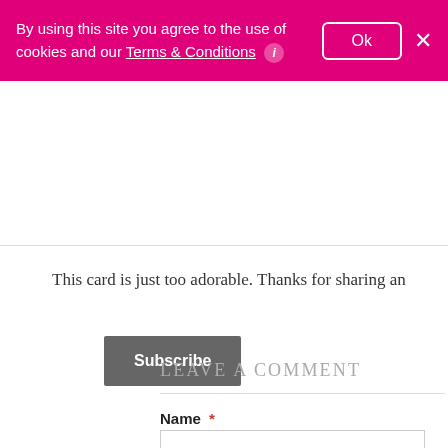By using this site you agree to the use of cookies and our Terms & Conditions ℹ
Ok
×
Subscribe
This card is just too adorable. Thanks for sharing an
Leave a comment
Name *
Email *